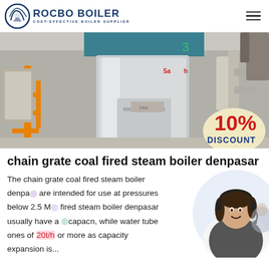ROCBO BOILER — COST-EFFECTIVE BOILER SUPPLIER
[Figure (photo): Industrial boiler room with large silver/stainless steel boiler units, orange pipes, measuring gauges marked '3' and red measurement markers, with a 10% DISCOUNT sticker in the bottom right corner.]
chain grate coal fired steam boiler denpasar
[Figure (photo): Customer service representative woman smiling, wearing headset, shown in circular crop in bottom right area.]
The chain grate coal fired steam boiler denpasar are intended for use at pressures below 2.5 M... fired steam boiler denpasar usually have a capac... n, while water tube ones of 20t/h or more as capacity expansion is...